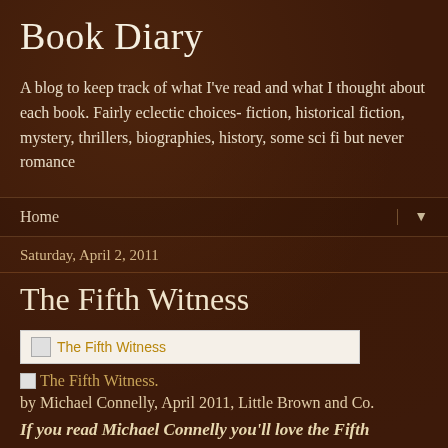Book Diary
A blog to keep track of what I've read and what I thought about each book. Fairly eclectic choices- fiction, historical fiction, mystery, thrillers, biographies, history, some sci fi but never romance
Home
Saturday, April 2, 2011
The Fifth Witness
[Figure (other): Broken image placeholder for The Fifth Witness book cover]
The Fifth Witness. by Michael Connelly, April 2011, Little Brown and Co.
If you read Michael Connelly you'll love the Fifth